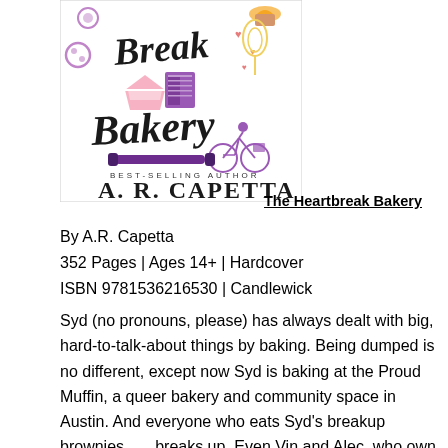[Figure (illustration): Book cover for 'The Heartbreak Bakery' by A.R. Capetta. Features stylized script text 'Heartbreak Bakery' with colorful illustrations of baked goods, a book, a bicycle, rolling pin, cookies, hearts, and other decorative elements in purple, pink, orange, and yellow. Bottom reads 'BEST-SELLING AUTHOR A. R. CAPETTA' in large display font.]
The Heartbreak Bakery
By A.R. Capetta
352 Pages | Ages 14+ | Hardcover
ISBN 9781536216530 | Candlewick
Syd (no pronouns, please) has always dealt with big, hard-to-talk-about things by baking. Being dumped is no different, except now Syd is baking at the Proud Muffin, a queer bakery and community space in Austin. And everyone who eats Syd's breakup brownies . . . breaks up. Even Vin and Alec, who own the Proud Muffin. And their breakup might take the bakery down with it. Being dumped is one thing; causing ripples of queer heartbreak